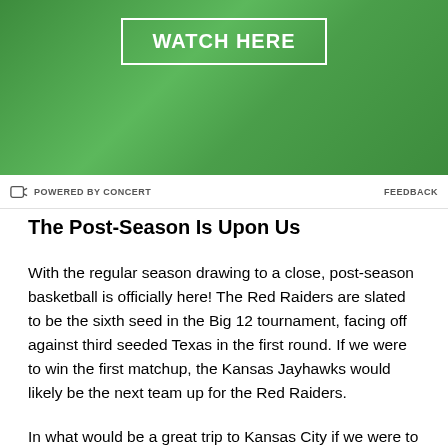[Figure (other): Green textured advertisement banner with 'WATCH HERE' button in white text and white border]
POWERED BY CONCERT   FEEDBACK
The Post-Season Is Upon Us
With the regular season drawing to a close, post-season basketball is officially here! The Red Raiders are slated to be the sixth seed in the Big 12 tournament, facing off against third seeded Texas in the first round. If we were to win the first matchup, the Kansas Jayhawks would likely be the next team up for the Red Raiders.
In what would be a great trip to Kansas City if we were to win the whole thing, I do not believe winning a lot of